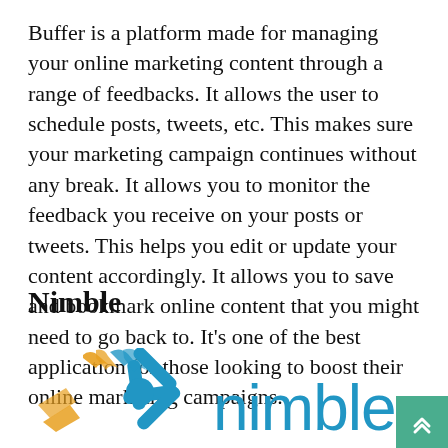Buffer is a platform made for managing your online marketing content through a range of feedbacks. It allows the user to schedule posts, tweets, etc. This makes sure your marketing campaign continues without any break. It allows you to monitor the feedback you receive on your posts or tweets. This helps you edit or update your content accordingly. It allows you to save and bookmark online content that you might need to go back to. It's one of the best application for those looking to boost their online marketing campaigns.
Nimble
[Figure (logo): Nimble logo with stylized star/asterisk icon in blue and orange/gold colors and the word 'nimble' in blue text]